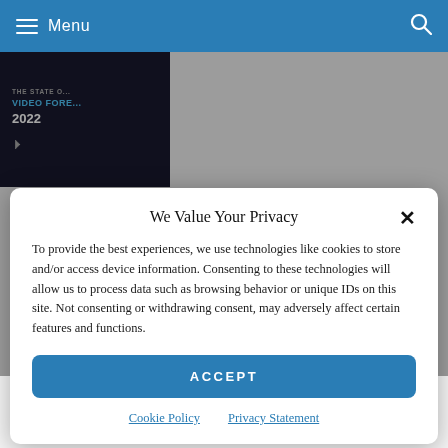Menu
[Figure (screenshot): Thumbnail image showing 'The State of Video Forensics 2022' report cover with dark background and blue text]
We Value Your Privacy
To provide the best experiences, we use technologies like cookies to store and/or access device information. Consenting to these technologies will allow us to process data such as browsing behavior or unique IDs on this site. Not consenting or withdrawing consent, may adversely affect certain features and functions.
ACCEPT
Cookie Policy  Privacy Statement
Nottingham, UK Leicestershire Police Use your expertise in digital…